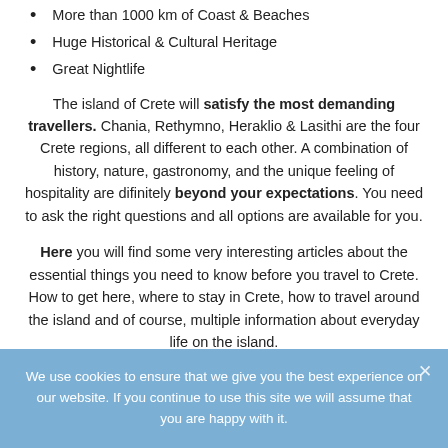More than 1000 km of Coast & Beaches
Huge Historical & Cultural Heritage
Great Nightlife
The island of Crete will satisfy the most demanding travellers. Chania, Rethymno, Heraklio & Lasithi are the four Crete regions, all different to each other. A combination of history, nature, gastronomy, and the unique feeling of hospitality are difinitely beyond your expectations. You need to ask the right questions and all options are available for you.
Here you will find some very interesting articles about the essential things you need to know before you travel to Crete. How to get here, where to stay in Crete, how to travel around the island and of course, multiple information about everyday life on the island.
We use cookies to ensure that we give you the best experience on our website. If you continue to use this site we will assume that you are happy with it.